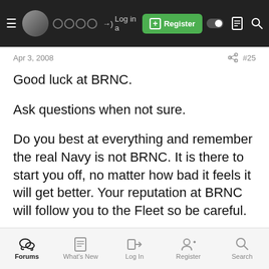≡ [avatar] ●●●● →) Log in [+] Register ◐ 🗎 🔍
Apr 3, 2008
#25
Good luck at BRNC.
Ask questions when not sure.
Do you best at everything and remember the real Navy is not BRNC. It is there to start you off, no matter how bad it feels it will get better. Your reputation at BRNC will follow you to the Fleet so be careful.
I had a bad time during basic training (family issues) and found if I need to take a few mins out go to one of the
Forums | What's New | Log In | Register | Search